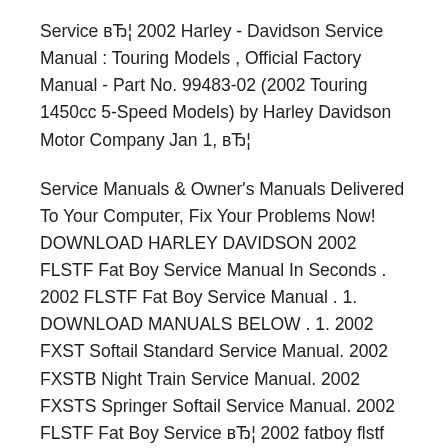Service в… 2002 Harley - Davidson Service Manual : Touring Models , Official Factory Manual - Part No. 99483-02 (2002 Touring 1450cc 5-Speed Models) by Harley Davidson Motor Company Jan 1, в…
Service Manuals & Owner's Manuals Delivered To Your Computer, Fix Your Problems Now! DOWNLOAD HARLEY DAVIDSON 2002 FLSTF Fat Boy Service Manual In Seconds . 2002 FLSTF Fat Boy Service Manual . 1. DOWNLOAD MANUALS BELOW . 1. 2002 FXST Softail Standard Service Manual. 2002 FXSTB Night Train Service Manual. 2002 FXSTS Springer Softail Service Manual. 2002 FLSTF Fat Boy Service в… 2002 fatboy flstf harley davidson will not start with check engine light on.After i changed the turn siginal to led light so it wouldnt start and check engine light was on. Hi, Amanda before testing any electrical component in the Turn Signal Light Circuit it is "IMPERATIVE" that you have a fully